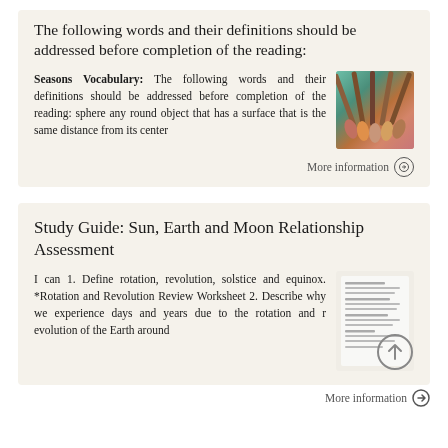The following words and their definitions should be addressed before completion of the reading:
Seasons Vocabulary: The following words and their definitions should be addressed before completion of the reading: sphere any round object that has a surface that is the same distance from its center
[Figure (photo): Photo of colorful makeup brushes fanned out]
More information →
Study Guide: Sun, Earth and Moon Relationship Assessment
I can 1. Define rotation, revolution, solstice and equinox. *Rotation and Revolution Review Worksheet 2. Describe why we experience days and years due to the rotation and r evolution of the Earth around
[Figure (screenshot): Thumbnail image of a worksheet document with text lines]
More information →